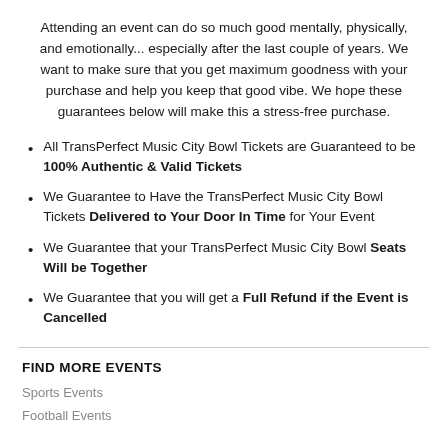Attending an event can do so much good mentally, physically, and emotionally... especially after the last couple of years. We want to make sure that you get maximum goodness with your purchase and help you keep that good vibe. We hope these guarantees below will make this a stress-free purchase.
All TransPerfect Music City Bowl Tickets are Guaranteed to be 100% Authentic & Valid Tickets
We Guarantee to Have the TransPerfect Music City Bowl Tickets Delivered to Your Door In Time for Your Event
We Guarantee that your TransPerfect Music City Bowl Seats Will be Together
We Guarantee that you will get a Full Refund if the Event is Cancelled
FIND MORE EVENTS
Sports Events
Football Events